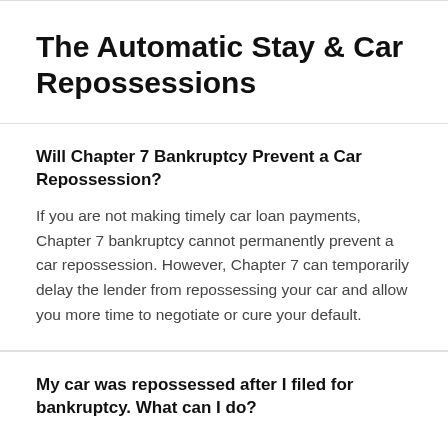The Automatic Stay & Car Repossessions
Will Chapter 7 Bankruptcy Prevent a Car Repossession?
If you are not making timely car loan payments, Chapter 7 bankruptcy cannot permanently prevent a car repossession. However, Chapter 7 can temporarily delay the lender from repossessing your car and allow you more time to negotiate or cure your default.
My car was repossessed after I filed for bankruptcy. What can I do?